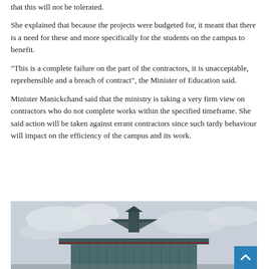that this will not be tolerated.
She explained that because the projects were budgeted for, it meant that there is a need for these and more specifically for the students on the campus to benefit.
“This is a complete failure on the part of the contractors, it is unacceptable, reprehensible and a breach of contract”, the Minister of Education said.
Minister Manickchand said that the ministry is taking a very firm view on contractors who do not complete works within the specified timeframe. She said action will be taken against errant contractors since such tardy behaviour will impact on the efficiency of the campus and its work.
[Figure (photo): A photograph of a building structure with a dark metal roof and corrugated metal walls, photographed against a cloudy sky.]